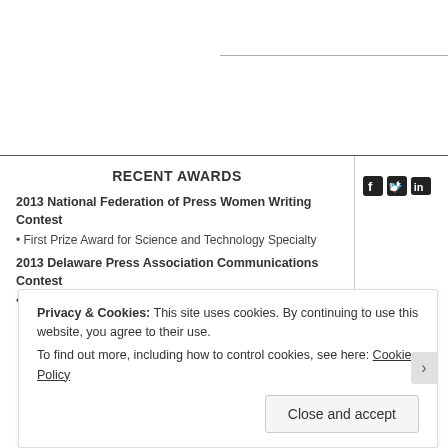RECENT AWARDS
2013 National Federation of Press Women Writing Contest
• First Prize Award for Science and Technology Specialty
2013 Delaware Press Association Communications Contest
• First Prize Award for Science and Technology Specialty
[Figure (infographic): Social media icons: Facebook, Twitter, LinkedIn]
Privacy & Cookies: This site uses cookies. By continuing to use this website, you agree to their use. To find out more, including how to control cookies, see here: Cookie Policy